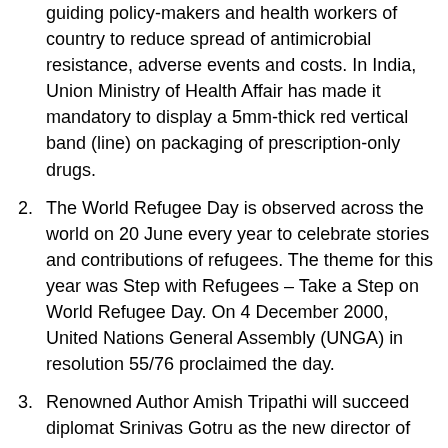guiding policy-makers and health workers of country to reduce spread of antimicrobial resistance, adverse events and costs. In India, Union Ministry of Health Affair has made it mandatory to display a 5mm-thick red vertical band (line) on packaging of prescription-only drugs.
The World Refugee Day is observed across the world on 20 June every year to celebrate stories and contributions of refugees. The theme for this year was Step with Refugees – Take a Step on World Refugee Day. On 4 December 2000, United Nations General Assembly (UNGA) in resolution 55/76 proclaimed the day.
Renowned Author Amish Tripathi will succeed diplomat Srinivas Gotru as the new director of London's Nehru Centre, under Indian Council for Cultural Relations (ICCR). He is the author of books such as 'Secret of the Nagas' and 'Sita – Warrior of Mithila'. London's Nehru's centre was established in 1992 with the goal of promoting cultural exchanges between India and UK.
The Indian women's rugby team claimed a historic first-ever international Rugby 15s victory with a 21-19 win over